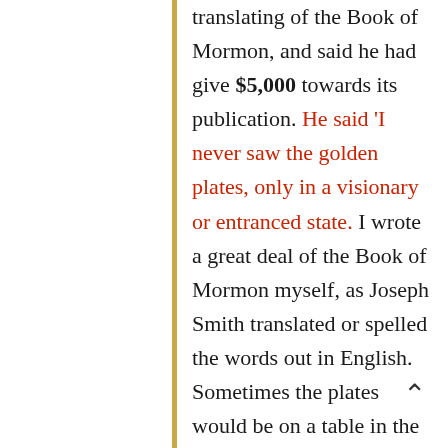translating of the Book of Mormon, and said he had give $5,000 towards its publication. He said 'I never saw the golden plates, only in a visionary or entranced state. I wrote a great deal of the Book of Mormon myself, as Joseph Smith translated or spelled the words out in English. Sometimes the plates would be on a table in the room in which Smith did the translating, covered over with cloth. I was told by Joseph Smith that God